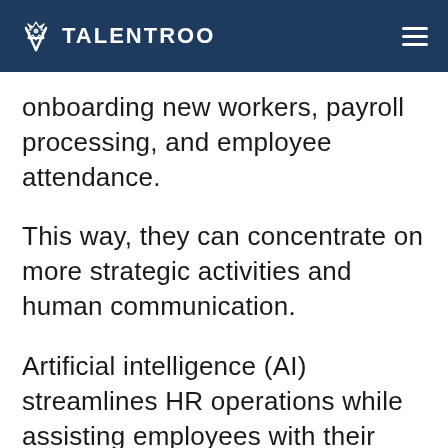TALENTROO
onboarding new workers, payroll processing, and employee attendance.
This way, they can concentrate on more strategic activities and human communication.
Artificial intelligence (AI) streamlines HR operations while assisting employees with their jobs.
It assists them in reorganizing their staffing plans to develop more effective hiring processes.